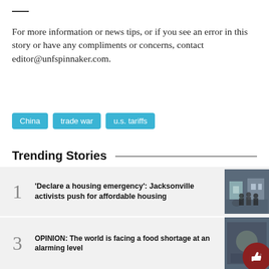For more information or news tips, or if you see an error in this story or have any compliments or concerns, contact editor@unfspinnaker.com.
China
trade war
u.s. tariffs
Trending Stories
1  'Declare a housing emergency': Jacksonville activists push for affordable housing
2  Jobs in college: Is self-employment a good option?
3  OPINION: The world is facing a food shortage at an alarming level